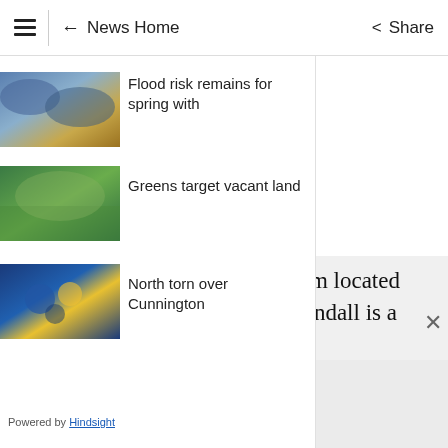← News Home   Share
[Figure (screenshot): Thumbnail image of storm/flood clouds]
Flood risk remains for spring with
[Figure (photo): Thumbnail image of green outdoor scene]
Greens target vacant land
[Figure (photo): Thumbnail image of crowd in blue and yellow]
North torn over Cunnington
Powered by Hindsight
"Initial inquiries suggest the item located within the search grounds at Kendall is a
[Figure (other): Ad placeholder box]